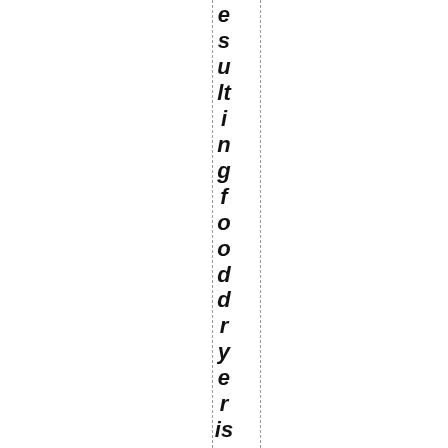esulting food dryer isn't just eff